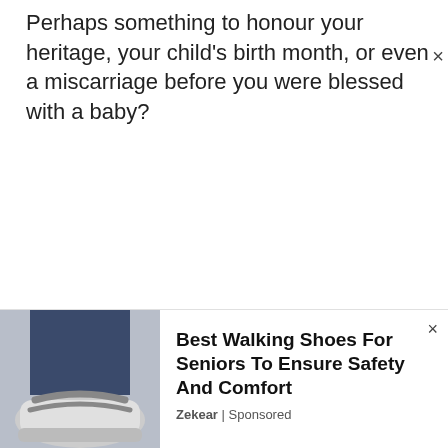Perhaps something to honour your heritage, your child's birth month, or even a miscarriage before you were blessed with a baby?
[Figure (photo): Advertisement banner showing a person wearing walking shoes/sandals, with text 'Best Walking Shoes For Seniors To Ensure Safety And Comfort' by Zekear | Sponsored]